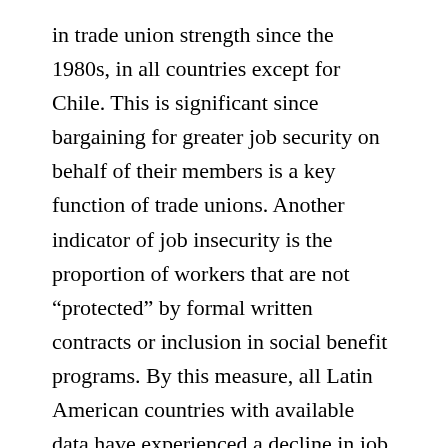in trade union strength since the 1980s, in all countries except for Chile. This is significant since bargaining for greater job security on behalf of their members is a key function of trade unions. Another indicator of job insecurity is the proportion of workers that are not “protected” by formal written contracts or inclusion in social benefit programs. By this measure, all Latin American countries with available data have experienced a decline in job protection (see accompanying table). The fact that the informal economy -according to the International Labor Organization- accounts for 80 percent of new jobs created in Latin